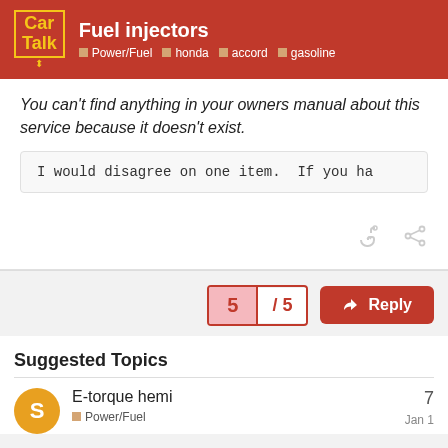Fuel injectors | Power/Fuel honda accord gasoline
You can't find anything in your owners manual about this service because it doesn't exist.
I would disagree on one item.  If you ha
5 / 5
Reply
Suggested Topics
E-torque hemi | Power/Fuel | 7 | Jan 1